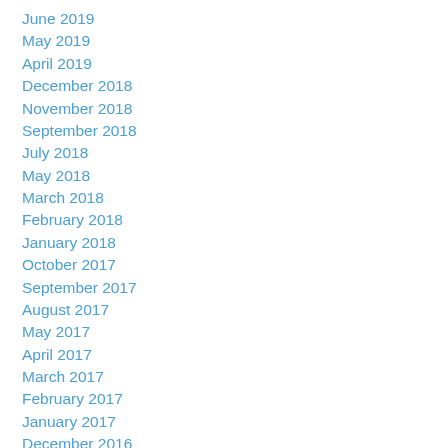June 2019
May 2019
April 2019
December 2018
November 2018
September 2018
July 2018
May 2018
March 2018
February 2018
January 2018
October 2017
September 2017
August 2017
May 2017
April 2017
March 2017
February 2017
January 2017
December 2016
November 2016